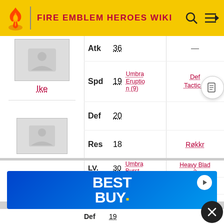FIRE EMBLEM HEROES WIKI
|  | Stat | Value | Skill | Skill2 |
| --- | --- | --- | --- | --- |
| Ike | Atk | 36 |  |  |
|  | Spd | 19 | Umbra Eruption (9) | Def Tactic 3 |
|  | Def | 20 |  |  |
|  | Res | 18 |  | Røkkr |
|  | LV. | 30 | Umbra Burst | Heavy Blade 2 |
|  | HP | ? | — | Swordbreaker 3 |
|  | Atk | 36 |  |  |
|  | Def | 19 |  |  |
[Figure (screenshot): Best Buy advertisement banner]